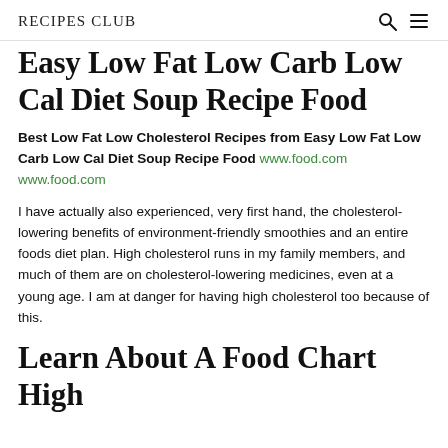RECIPES CLUB
Easy Low Fat Low Carb Low Cal Diet Soup Recipe Food
Best Low Fat Low Cholesterol Recipes from Easy Low Fat Low Carb Low Cal Diet Soup Recipe Food www.food.com www.food.com
I have actually also experienced, very first hand, the cholesterol-lowering benefits of environment-friendly smoothies and an entire foods diet plan. High cholesterol runs in my family members, and much of them are on cholesterol-lowering medicines, even at a young age. I am at danger for having high cholesterol too because of this.
Learn About A Food Chart High